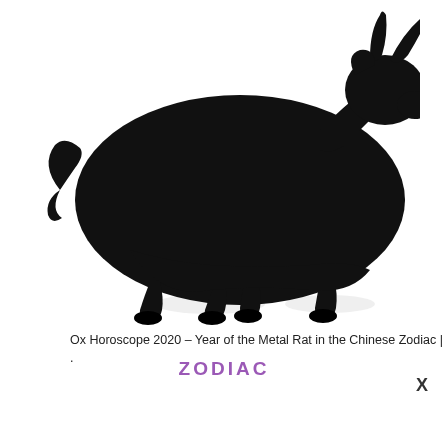[Figure (illustration): Black silhouette of an ox/bull walking, facing right, with horns, tail curled, hooves visible, with faint shadow reflections beneath.]
Ox Horoscope 2020 – Year of the Metal Rat in the Chinese Zodiac | .
ZODIAC
X